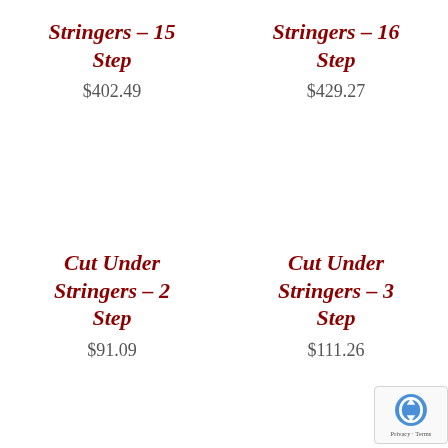Stringers – 15 Step
$402.49
Stringers – 16 Step
$429.27
Cut Under Stringers – 2 Step
$91.09
Cut Under Stringers – 3 Step
$111.26